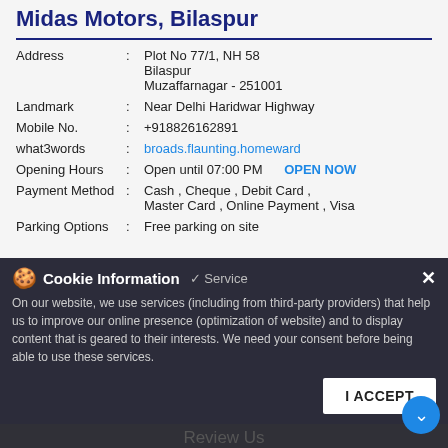Midas Motors, Bilaspur
Address : Plot No 77/1, NH 58 Bilaspur Muzaffarnagar - 251001
Landmark : Near Delhi Haridwar Highway
Mobile No. : +918826162891
what3words : broads.flaunting.homeward
Opening Hours : Open until 07:00 PM    OPEN NOW
Payment Method : Cash , Cheque , Debit Card , Master Card , Online Payment , Visa
Parking Options : Free parking on site
Cookie Information
On our website, we use services (including from third-party providers) that help us to improve our online presence (optimization of website) and to display content that is geared to their interests. We need your consent before being able to use these services.
Review Us